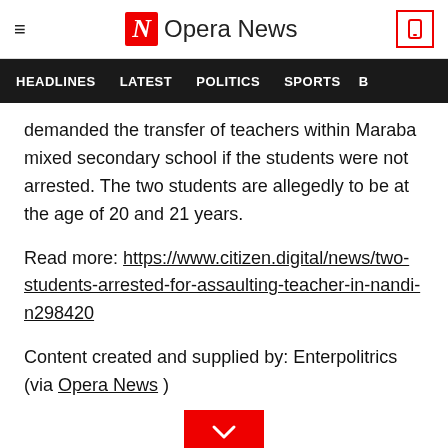Opera News
HEADLINES   LATEST   POLITICS   SPORTS   B
demanded the transfer of teachers within Maraba mixed secondary school if the students were not arrested. The two students are allegedly to be at the age of 20 and 21 years.
Read more: https://www.citizen.digital/news/two-students-arrested-for-assaulting-teacher-in-nandi-n298420
Content created and supplied by: Enterpolitrics (via Opera News )